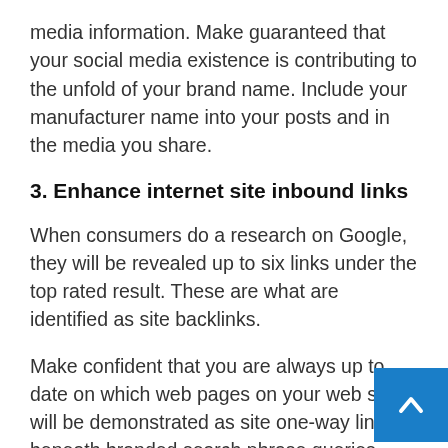media information. Make guaranteed that your social media existence is contributing to the unfold of your brand name. Include your manufacturer name into your posts and in the media you share.
3. Enhance internet site inbound links
When consumers do a research on Google, they will be revealed up to six links under the top rated result. These are what are identified as site backlinks.
Make confident that you are always up to date on which web pages on your web site will be demonstrated as site one-way links beneath branded search phrase queries. The aim is to heavily focus on optimizing your landing site, a regardless of what internet site hyperlinks Google